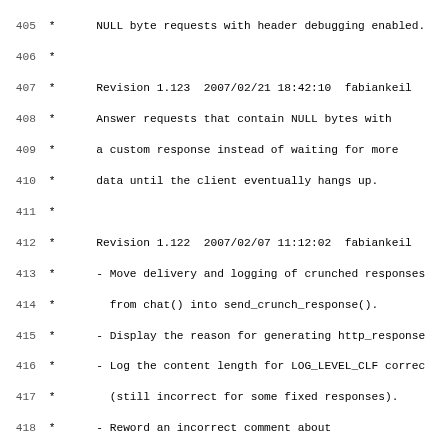Source code revision log lines 405-436, showing changelog entries for revisions 1.119 through 1.123